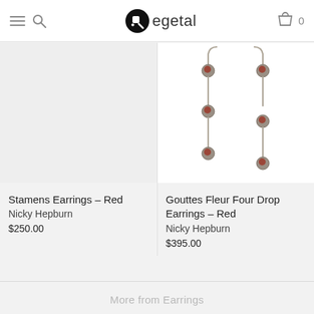egetal
[Figure (photo): Empty light gray product image placeholder for Stamens Earrings – Red]
Stamens Earrings – Red
Nicky Hepburn
$250.00
[Figure (photo): Photo of Gouttes Fleur Four Drop Earrings in red – two silver drop earrings with red gemstone beads on white background]
Gouttes Fleur Four Drop Earrings – Red
Nicky Hepburn
$395.00
More from Earrings